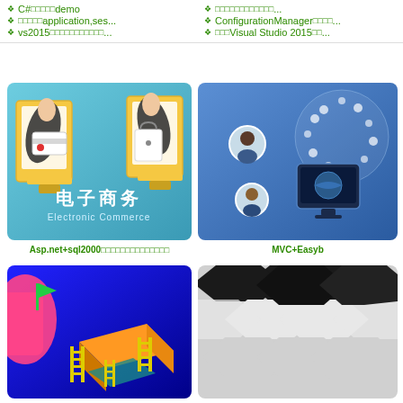C#□□□□□demo
□□□□□□□□□□□□...
□□□□□application,ses...
ConfigurationManager□□□□...
vs2015□□□□□□□□□□□...
□□□Visual Studio 2015□□...
[Figure (illustration): E-commerce illustration showing two hands emerging from yellow-framed monitors exchanging a credit card and shopping bag, with Chinese text 电子商务 and subtitle Electronic Commerce on a light blue background]
Asp.net+sql2000□□□□□□□□□□□□□□
[Figure (illustration): Blue background illustration with digital/tech icons globe, person avatars, and devices suggesting MVC+EasyUI technology stack]
MVC+Easyb
[Figure (illustration): Blue background isometric illustration with colorful 3D platforms, ladders, a flag, and geometric shapes suggesting a game or learning platform]
[Figure (illustration): White/grey hexagonal tile pattern photo]